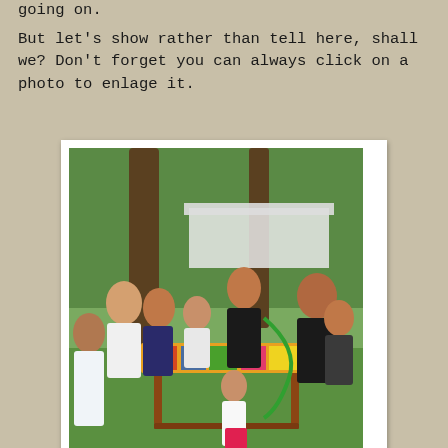going on.
But let's show rather than tell here, shall we? Don't forget you can always click on a photo to enlage it.
[Figure (photo): Outdoor gathering with a group of children and adults around a colorful table on grass, with trees and a white tent structure in the background. A person in a black outfit appears to be entertaining with a green balloon. Children of various ages are gathered around the table which is covered with a colorful cloth.]